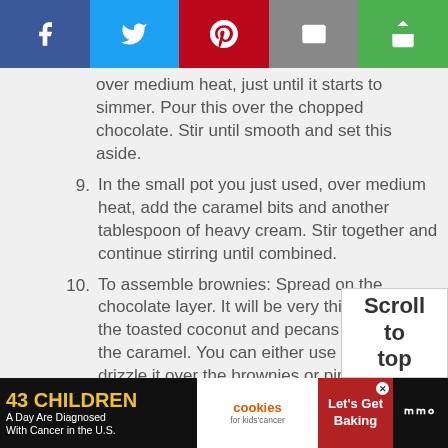[Figure (screenshot): Social media share bar with Facebook, Twitter, Pinterest, Email, and another share button]
(continuation) over medium heat, just until it starts to simmer. Pour this over the chopped chocolate. Stir until smooth and set this aside.
9. In the small pot you just used, over medium heat, add the caramel bits and another tablespoon of heavy cream. Stir together and continue stirring until combined.
10. To assemble brownies: Spread on the chocolate layer. It will be very thin. Then add the toasted coconut and pecans and finally the caramel. You can either use a spoon to drizzle it over the brownies or pipe it.
[Figure (screenshot): Scroll to top button]
[Figure (screenshot): Advertisement banner: 43 Children A Day Are Diagnosed With Cancer in the U.S. - Cookies for kids cancer - Let's Get Baking]